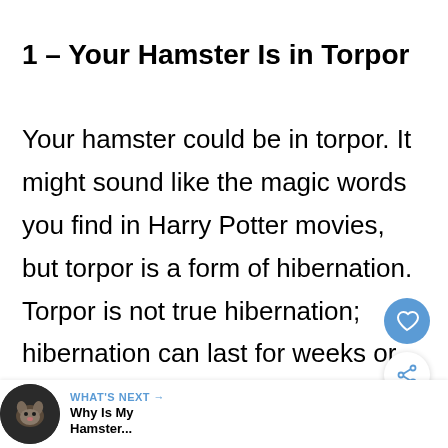1 – Your Hamster Is in Torpor
Your hamster could be in torpor. It might sound like the magic words you find in Harry Potter movies, but torpor is a form of hibernation. Torpor is not true hibernation; hibernation can last for weeks or months in most animals. In hamsters, they don't go into total hibernation immediately; they go torpor first.
[Figure (other): Heart (like/save) button - circular blue button with white heart icon]
[Figure (other): Share button - circular white button with blue share icon]
[Figure (other): What's Next bar at bottom of page showing a hamster thumbnail image with text 'WHAT'S NEXT → Why Is My Hamster...']